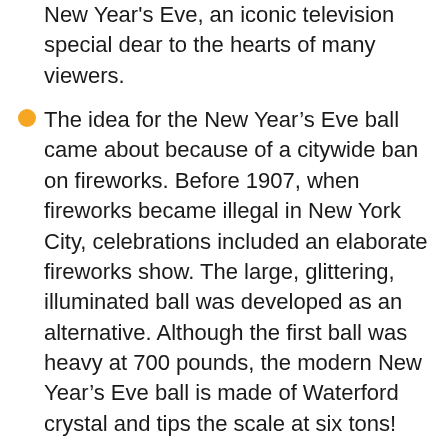New Year's Eve, an iconic television special dear to the hearts of many viewers.
The idea for the New Year's Eve ball came about because of a citywide ban on fireworks. Before 1907, when fireworks became illegal in New York City, celebrations included an elaborate fireworks show. The large, glittering, illuminated ball was developed as an alternative. Although the first ball was heavy at 700 pounds, the modern New Year's Eve ball is made of Waterford crystal and tips the scale at six tons!
The top five New Year's resolutions are: to lose weight, quit smoking, get a new job, return to school, an increase...